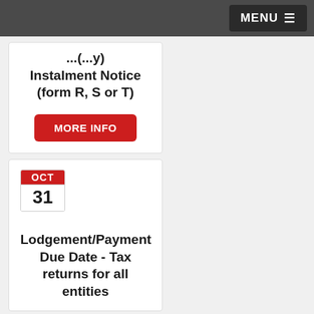MENU
Instalment Notice (form R, S or T)
MORE INFO
OCT 31
Lodgement/Payment Due Date - Tax returns for all entities